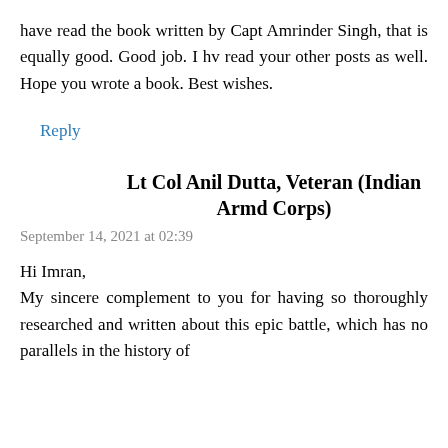have read the book written by Capt Amrinder Singh, that is equally good. Good job. I hv read your other posts as well. Hope you wrote a book. Best wishes.
Reply
Lt Col Anil Dutta, Veteran (Indian Armd Corps)
September 14, 2021 at 02:39
Hi Imran,
My sincere complement to you for having so thoroughly researched and written about this epic battle, which has no parallels in the history of